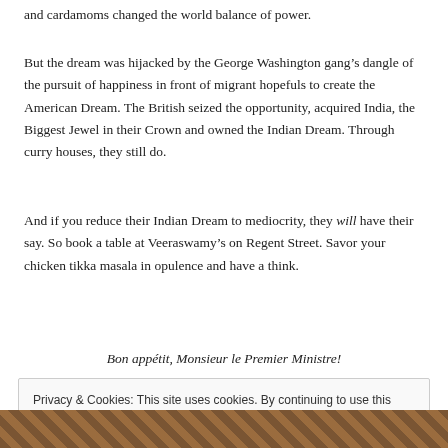and cardamoms changed the world balance of power.
But the dream was hijacked by the George Washington gang’s dangle of the pursuit of happiness in front of migrant hopefuls to create the American Dream. The British seized the opportunity, acquired India, the Biggest Jewel in their Crown and owned the Indian Dream. Through curry houses, they still do.
And if you reduce their Indian Dream to mediocrity, they will have their say. So book a table at Veeraswamy’s on Regent Street. Savor your chicken tikka masala in opulence and have a think.
Bon appétit, Monsieur le Premier Ministre!
Privacy & Cookies: This site uses cookies. By continuing to use this website, you agree to their use.
To find out more, including how to control cookies, see here: Cookie Policy
Close and accept
[Figure (photo): Bottom strip showing a warm-toned interior photo, partially visible]